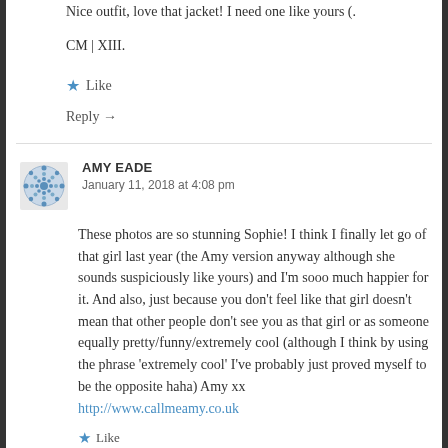Nice outfit, love that jacket! I need one like yours (.
CM | XIII.
★ Like
Reply →
AMY EADE
January 11, 2018 at 4:08 pm
These photos are so stunning Sophie! I think I finally let go of that girl last year (the Amy version anyway although she sounds suspiciously like yours) and I'm sooo much happier for it. And also, just because you don't feel like that girl doesn't mean that other people don't see you as that girl or as someone equally pretty/funny/extremely cool (although I think by using the phrase 'extremely cool' I've probably just proved myself to be the opposite haha) Amy xx
http://www.callmeamy.co.uk